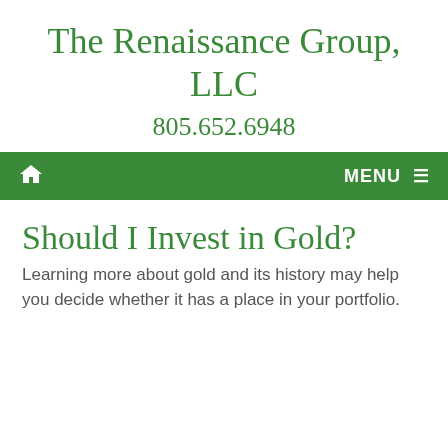The Renaissance Group, LLC
805.652.6948
Home | MENU
Should I Invest in Gold?
Learning more about gold and its history may help you decide whether it has a place in your portfolio.